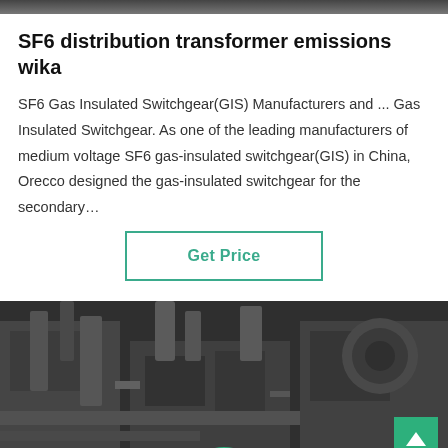SF6 distribution transformer emissions wika
SF6 Gas Insulated Switchgear(GIS) Manufacturers and ... Gas Insulated Switchgear. As one of the leading manufacturers of medium voltage SF6 gas-insulated switchgear(GIS) in China, Orecco designed the gas-insulated switchgear for the secondary…
[Figure (other): Get Price button with teal border]
[Figure (photo): Industrial machinery photo showing pipes and metal equipment in a manufacturing facility]
[Figure (other): Customer service representative avatar with headset in circular frame with green border]
Leave Message   Chat Online